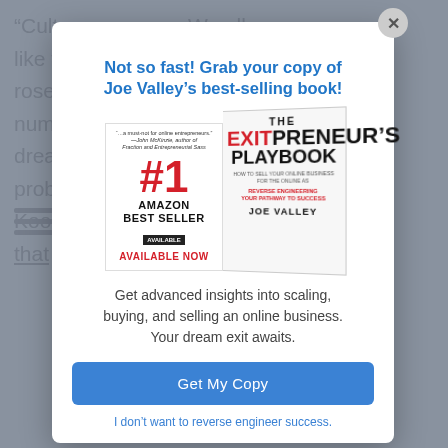“Culture… We all like to t… me and roses f… numbe… g in a dream … any proble… rong Kool-Ai… ture that hu…
Not so fast! Grab your copy of Joe Valley’s best-selling book!
[Figure (photo): Book cover and promotional panel: #1 Amazon Best Seller, Available Now, The EXITPreneur's Playbook by Joe Valley]
Get advanced insights into scaling, buying, and selling an online business. Your dream exit awaits.
Get My Copy
I don’t want to reverse engineer success.